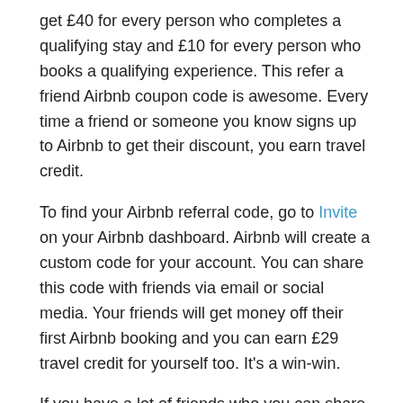get £40 for every person who completes a qualifying stay and £10 for every person who books a qualifying experience. This refer a friend Airbnb coupon code is awesome. Every time a friend or someone you know signs up to Airbnb to get their discount, you earn travel credit.
To find your Airbnb referral code, go to Invite on your Airbnb dashboard. Airbnb will create a custom code for your account. You can share this code with friends via email or social media. Your friends will get money off their first Airbnb booking and you can earn £29 travel credit for yourself too. It's a win-win.
If you have a lot of friends who you can share your link with, then you can max out! You can earn a maximum of $5000 USD or £3800 GBP in Airbnb credit by sharing your referral link with your friends. It might take a long time to reach that limit. If you're a backpacker though, then this can really help keep your travel